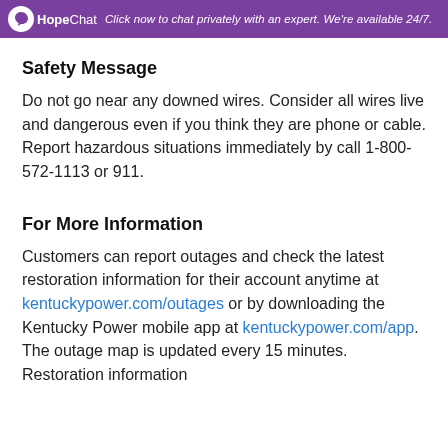HopeChat — Click now to chat privately with an expert. We're available 24/7.
Safety Message
Do not go near any downed wires. Consider all wires live and dangerous even if you think they are phone or cable. Report hazardous situations immediately by call 1-800-572-1113 or 911.
For More Information
Customers can report outages and check the latest restoration information for their account anytime at kentuckypower.com/outages or by downloading the Kentucky Power mobile app at kentuckypower.com/app. The outage map is updated every 15 minutes. Restoration information